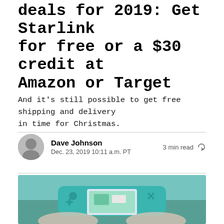Best Nintendo Switch holiday deals for 2019: Get Starlink for free or a $30 credit at Amazon or Target
And it's still possible to get free shipping and delivery in time for Christmas.
Dave Johnson
Dec. 23, 2019 10:11 a.m. PT
3 min read
[Figure (photo): Person holding a teal Nintendo Switch Lite gaming device with a game screen visible on the display]